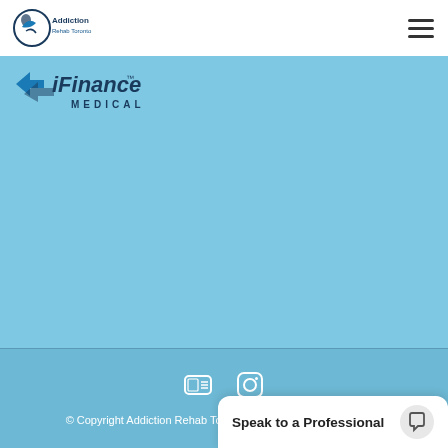[Figure (logo): Addiction Rehab Toronto logo - circular icon with figure and text]
[Figure (logo): iFinance Medical logo with stylized arrow icon and bold text]
© Copyright Addiction Rehab Toronto 2020 | Web Design Toronto
Speak to a Professional